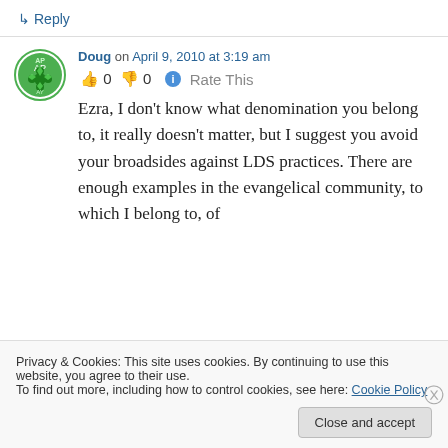↳ Reply
Doug on April 9, 2010 at 3:19 am
👍 0 👎 0 ℹ Rate This
Ezra, I don't know what denomination you belong to, it really doesn't matter, but I suggest you avoid your broadsides against LDS practices. There are enough examples in the evangelical community, to which I belong to, of
Privacy & Cookies: This site uses cookies. By continuing to use this website, you agree to their use.
To find out more, including how to control cookies, see here: Cookie Policy
Close and accept